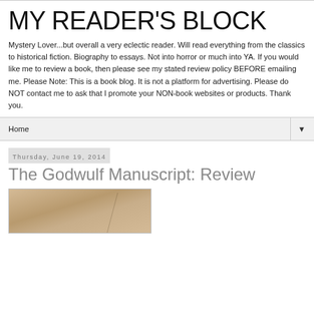MY READER'S BLOCK
Mystery Lover...but overall a very eclectic reader. Will read everything from the classics to historical fiction. Biography to essays. Not into horror or much into YA. If you would like me to review a book, then please see my stated review policy BEFORE emailing me. Please Note: This is a book blog. It is not a platform for advertising. Please do NOT contact me to ask that I promote your NON-book websites or products. Thank you.
Home ▼
Thursday, June 19, 2014
The Godwulf Manuscript: Review
[Figure (photo): Book cover image with beige/tan background]